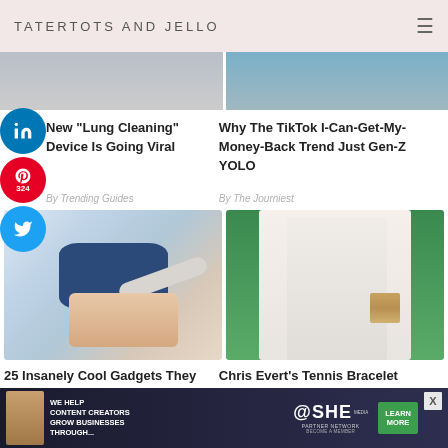TATERTOTS AND JELLO
[Figure (screenshot): Partial cropped image of an article about Lung Cleaning device (left) and TikTok money-back trend article (right)]
New "Lung Cleaning" Device Is Going Viral
By Trending Guides
Why The TikTok I-Can-Get-My-Money-Back Trend Just Gen-Z YOLO
By The Journiest
[Figure (photo): Person holding a Bril toothbrush sanitizer device (blue square device)]
[Figure (photo): Chris Evert in a white outfit on a tennis court]
25 Insanely Cool Gadgets They Are Selling Via I...
Chris Evert's Tennis Bracelet Collection Is A...
[Figure (infographic): SHE Media Partner Network advertisement banner: We help content creators grow businesses through... with Learn More button]